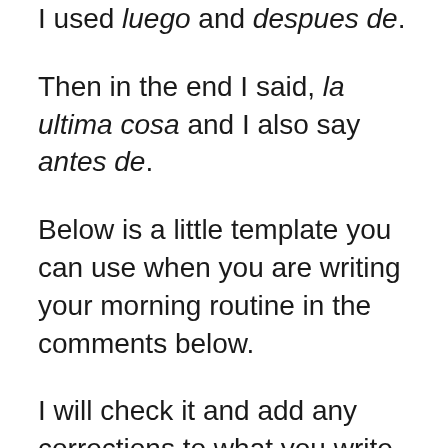I used luego and despues de.
Then in the end I said, la ultima cosa and I also say antes de.
Below is a little template you can use when you are writing your morning routine in the comments below.
I will check it and add any corrections to what you write below so definitely participate if you are up for the challenge.
“Primero, me despierto todas las mañanas a